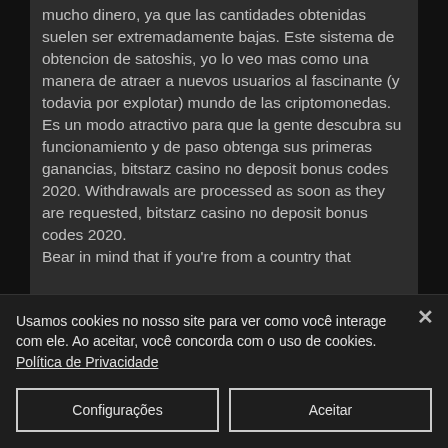mucho dinero, ya que las cantidades obtenidas suelen ser extremadamente bajas. Este sistema de obtencion de satoshis, yo lo veo mas como una manera de atraer a nuevos usuarios al fascinante (y todavia por explotar) mundo de las criptomonedas. Es un modo atractivo para que la gente descubra su funcionamiento y de paso obtenga sus primeras ganancias, bitstarz casino no deposit bonus codes 2020. Withdrawals are processed as soon as they are requested, bitstarz casino no deposit bonus codes 2020. Bear in mind that if you're from a country that
Usamos cookies no nosso site para ver como você interage com ele. Ao aceitar, você concorda com o uso de cookies. Política de Privacidade
Configurações
Aceitar